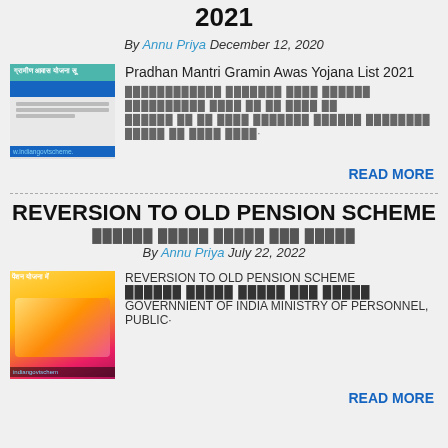2021
By Annu Priya December 12, 2020
[Figure (screenshot): Screenshot of Pradhan Mantri Gramin Awas Yojana website with blue and teal header]
Pradhan Mantri Gramin Awas Yojana List 2021
Hindi text excerpt about the scheme
READ MORE
REVERSION TO OLD PENSION SCHEME
Hindi subtitle text
By Annu Priya July 22, 2022
[Figure (photo): Photo showing pension scheme with Indian currency notes]
REVERSION TO OLD PENSION SCHEME Hindi text GOVERNNIENT OF INDIA MINISTRY OF PERSONNEL, PUBLIC·
READ MORE